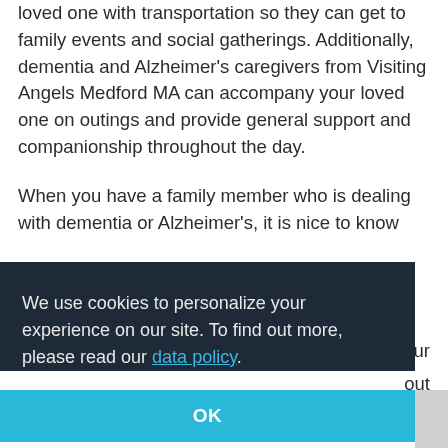loved one with transportation so they can get to family events and social gatherings. Additionally, dementia and Alzheimer's caregivers from Visiting Angels Medford MA can accompany your loved one on outings and provide general support and companionship throughout the day.
When you have a family member who is dealing with dementia or Alzheimer's, it is nice to know [your] [about] [s and]
We use cookies to personalize your experience on our site. To find out more, please read our data policy.
OK
Serving Medford, Malden, Melrose